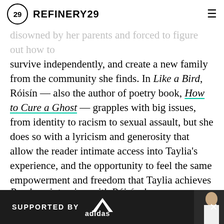REFINERY29
disowned by her parents and forced to figure out how to survive independently, and create a new family from the community she finds. In Like a Bird, Róisín — also the author of poetry book, How to Cure a Ghost — grapples with big issues, from identity to racism to sexual assault, but she does so with a lyricism and generosity that allow the reader intimate access into Taylia's experience, and the opportunity to feel the same empowerment and freedom that Taylia achieves for herself.
Read my interview with Róisín, here.
RELATED STORIES
BOOKS & ART
[Figure (photo): Thumbnail image with orange and blue tones for a related story]
[Figure (screenshot): Adidas advertisement banner with 'SUPPORTED BY adidas' text and a person in white clothing on the right side]